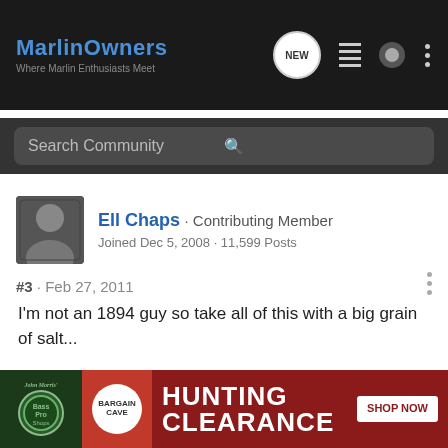MarlinOwners · Where Marlin Enthusiasts Meet
Search Community
Ell Chaps · Contributing Member
Joined Dec 5, 2008 · 11,599 Posts
#3 · Feb 27, 2011
I'm not an 1894 guy so take all of this with a big grain of salt...
It looks to me like the reason the primer end is canted up is that the bullet end is being pinched inside the mag tube by the carrier lifting. I don't know of anything in the action that could mechanically cause the back of the shell to raise like that.
In the picture it looks like the carrier has begun to lift yet the round has not fully excited the tube. To me that would mean possible follower issue, o ing to
[Figure (infographic): Bass Pro Shops Bargain Cave Hunting Clearance advertisement banner with SHOP NOW button]